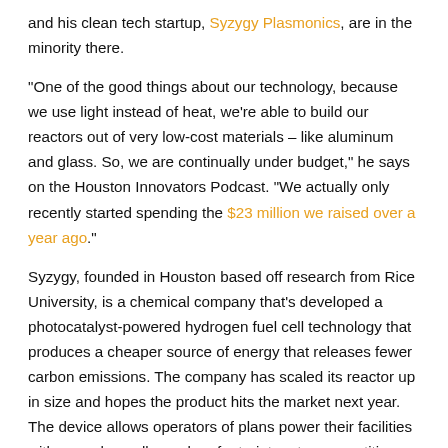and his clean tech startup, Syzygy Plasmonics, are in the minority there.
"One of the good things about our technology, because we use light instead of heat, we're able to build our reactors out of very low-cost materials – like aluminum and glass. So, we are continually under budget," he says on the Houston Innovators Podcast. "We actually only recently started spending the $23 million we raised over a year ago."
Syzygy, founded in Houston based off research from Rice University, is a chemical company that's developed a photocatalyst-powered hydrogen fuel cell technology that produces a cheaper source of energy that releases fewer carbon emissions. The company has scaled its reactor up in size and hopes the product hits the market next year. The device allows operators of plans power their facilities with a much smaller carbon footprint – at a competitive price, too.
Despite the benefits of being under budget, Best says it's not keeping him from running a full court press on fundraising and scaling for the future.